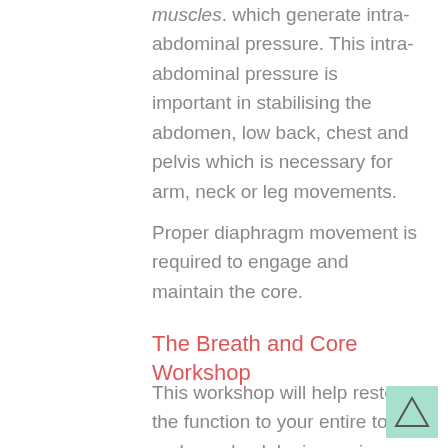muscles. which generate intra-abdominal pressure. This intra-abdominal pressure is important in stabilising the abdomen, low back, chest and pelvis which is necessary for arm, neck or leg movements.
Proper diaphragm movement is required to engage and maintain the core.
The Breath and Core Workshop
This workshop will help restore the function to your entire torso and your back by improving biomechanics, mobility and stability to the tissues and muscles surrounding, supporting and enveloping your spine and core.
[Figure (illustration): Light teal/green square with a triangle outline inside it, positioned in the bottom right corner]